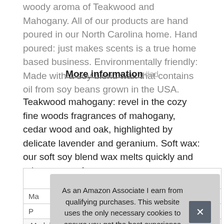woody aroma of Teakwood and Mahogany. All of our products are hand poured in our North Carolina home. Hand poured: just makes scents is a true home based business. Environmentally friendly: Made with a soy blend wax that contains oil from soy beans grown in the USA.
More information #ad
Teakwood mahogany: revel in the cozy fine woods fragrances of mahogany, cedar wood and oak, highlighted by delicate lavender and geranium. Soft wax: our soft soy blend wax melts quickly and release more fragrance.
| Ma |  |
| P |  |
| Model | T12303HCFL |
As an Amazon Associate I earn from qualifying purchases. This website uses the only necessary cookies to ensure you get the best experience on our website. More information